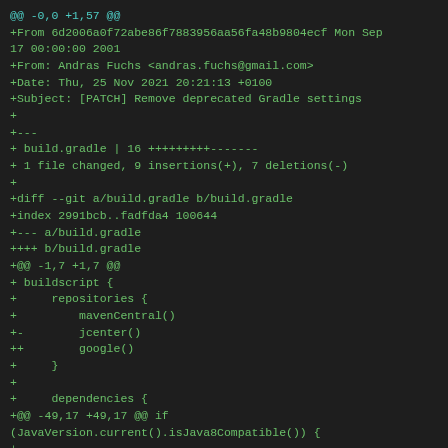@@ -0,0 +1,57 @@
+From 6d2006a0f72abe86f7883956aa56fa48b9804ecf Mon Sep 17 00:00:00 2001
+From: Andras Fuchs <andras.fuchs@gmail.com>
+Date: Thu, 25 Nov 2021 20:21:13 +0100
+Subject: [PATCH] Remove deprecated Gradle settings
+
+---
+ build.gradle | 16 +++++++++-------
+ 1 file changed, 9 insertions(+), 7 deletions(-)
+
+diff --git a/build.gradle b/build.gradle
+index 2991bcb..fadfda4 100644
+--- a/build.gradle
++++ b/build.gradle
+@@ -1,7 +1,7 @@
+ buildscript {
+     repositories {
+         mavenCentral()
+-        jcenter()
++        google()
+     }
+
+     dependencies {
+@@ -49,17 +49,17 @@ if (JavaVersion.current().isJava8Compatible()) {
+
+ repositories {
+     mavenCentral()
+-    jcenter()